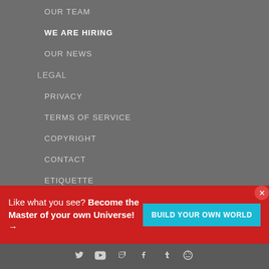OUR TEAM
WE ARE HIRING
OUR NEWS
LEGAL
PRIVACY
TERMS OF SERVICE
COPYRIGHT
CONTACT
ETIQUETTE
ACCESSIBILITY
EDUCATION
Like what you see? Become the Master of your own Universe! →
BUILD YOUR OWN WORLD
[Figure (infographic): Footer social media icons: Twitter, YouTube, Twitch, Facebook, Tumblr, Reddit]